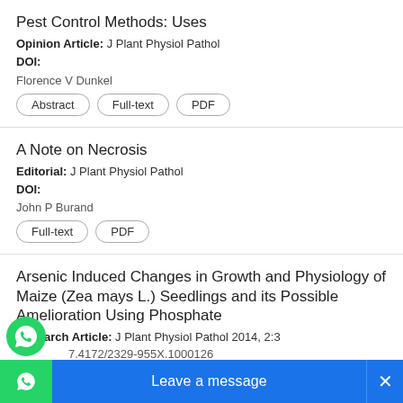Pest Control Methods: Uses
Opinion Article: J Plant Physiol Pathol
DOI:
Florence V Dunkel
Abstract | Full-text | PDF
A Note on Necrosis
Editorial: J Plant Physiol Pathol
DOI:
John P Burand
Full-text | PDF
Arsenic Induced Changes in Growth and Physiology of Maize (Zea mays L.) Seedlings and its Possible Amelioration Using Phosphate
Research Article: J Plant Physiol Pathol 2014, 2:3
DOI: 10.4172/2329-955X.1000126
a Srivastava
Abstract | Full-text | PDF
[Figure (other): WhatsApp chat bubble icon (green circle with phone handset)]
Leave a message  ×